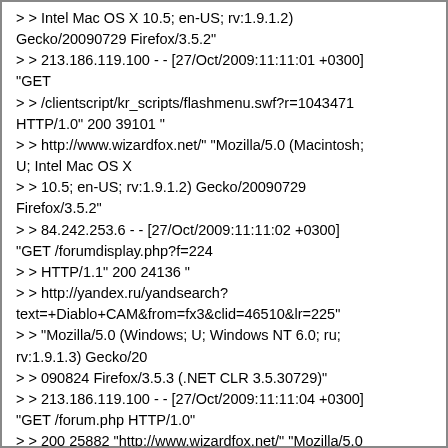> > Intel Mac OS X 10.5; en-US; rv:1.9.1.2) Gecko/20090729 Firefox/3.5.2"
> > 213.186.119.100 - - [27/Oct/2009:11:11:01 +0300] "GET
> > /clientscript/kr_scripts/flashmenu.swf?r=1043471 HTTP/1.0" 200 39101 "
> > http://www.wizardfox.net/" "Mozilla/5.0 (Macintosh; U; Intel Mac OS X
> > 10.5; en-US; rv:1.9.1.2) Gecko/20090729 Firefox/3.5.2"
> > 84.242.253.6 - - [27/Oct/2009:11:11:02 +0300] "GET /forumdisplay.php?f=224
> > HTTP/1.1" 200 24136 "
> > http://yandex.ru/yandsearch?text=+Diablo+CAM&from=fx3&clid=46510&lr=225"
> > "Mozilla/5.0 (Windows; U; Windows NT 6.0; ru; rv:1.9.1.3) Gecko/20
> > 090824 Firefox/3.5.3 (.NET CLR 3.5.30729)"
> > 213.186.119.100 - - [27/Oct/2009:11:11:04 +0300] "GET /forum.php HTTP/1.0"
> > 200 25882 "http://www.wizardfox.net/" "Mozilla/5.0 (Macintosh; U; Intel
> > Mac OS X 10.5; en-US; rv:1.9.1.2) Gecko/20090729 Firefox/3.5.2"
> > 92.255.236.14 - - [27/Oct/2009:11:11:04 +0300]
"POST /login.php?do=login